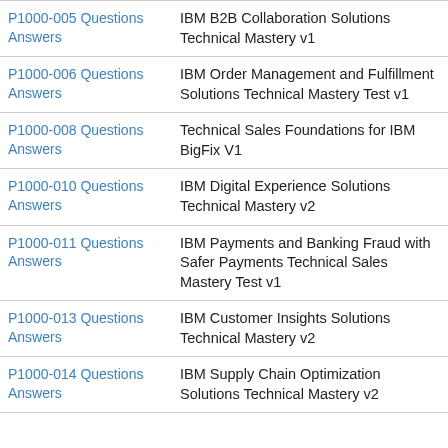| Exam Code | Description |
| --- | --- |
| P1000-005 Questions Answers | IBM B2B Collaboration Solutions Technical Mastery v1 |
| P1000-006 Questions Answers | IBM Order Management and Fulfillment Solutions Technical Mastery Test v1 |
| P1000-008 Questions Answers | Technical Sales Foundations for IBM BigFix V1 |
| P1000-010 Questions Answers | IBM Digital Experience Solutions Technical Mastery v2 |
| P1000-011 Questions Answers | IBM Payments and Banking Fraud with Safer Payments Technical Sales Mastery Test v1 |
| P1000-013 Questions Answers | IBM Customer Insights Solutions Technical Mastery v2 |
| P1000-014 Questions Answers | IBM Supply Chain Optimization Solutions Technical Mastery v2 |